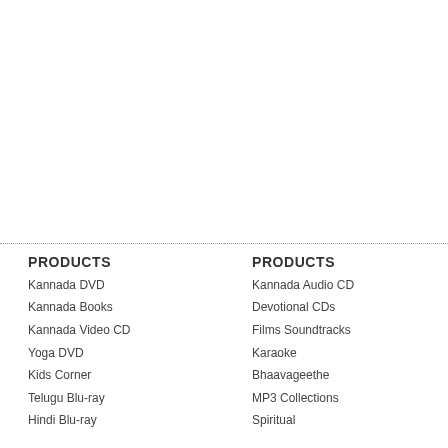PRODUCTS
Kannada DVD
Kannada Books
Kannada Video CD
Yoga DVD
Kids Corner
Telugu Blu-ray
Hindi Blu-ray
PRODUCTS
Kannada Audio CD
Devotional CDs
Films Soundtracks
Karaoke
Bhaavageethe
MP3 Collections
Spiritual